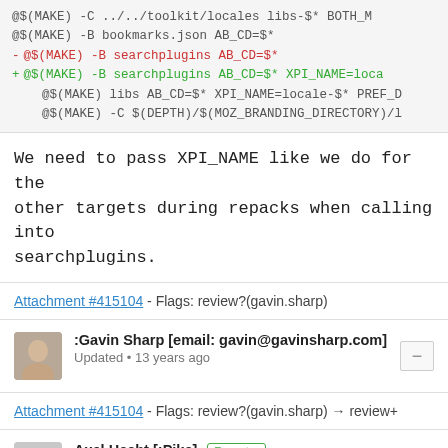[Figure (screenshot): Code diff showing makefile lines with red/deleted line and green/added line]
We need to pass XPI_NAME like we do for the other targets during repacks when calling into searchplugins.
Attachment #415104 - Flags: review?(gavin.sharp)
:Gavin Sharp [email: gavin@gavinsharp.com]
Updated • 13 years ago
Attachment #415104 - Flags: review?(gavin.sharp) → review+
Axel Hecht [:Pike] Reporter
Comment 1 • 13 years ago
http://hg.mozilla.org/mobile-